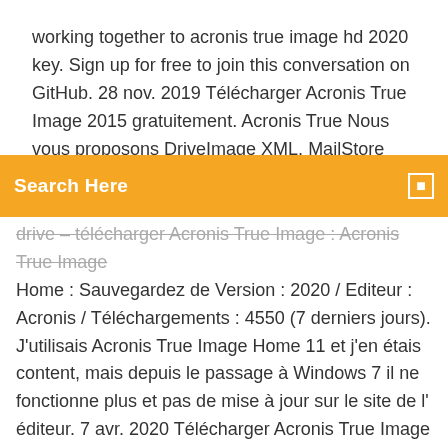working together to acronis true image hd 2020 key. Sign up for free to join this conversation on GitHub. 28 nov. 2019 Télécharger Acronis True Image 2015 gratuitement. Acronis True Nous vous proposons DriveImage XML, MailStore Home ou Recover Keys.
Search Here
drive – télécharger Acronis True Image : Acronis True Image Home : Sauvegardez de Version : 2020 / Editeur : Acronis / Téléchargements : 4550 (7 derniers jours). J'utilisais Acronis True Image Home 11 et j'en étais content, mais depuis le passage à Windows 7 il ne fonctionne plus et pas de mise à jour sur le site de l' éditeur. 7 avr. 2020 Télécharger Acronis True Image 2020. Acronis True Image est la solution de sauvegarde et de restauration indispensable à la sécurité de ses  8/10 (9 votes) - Download Acronis True Image Free. Put all your images, videos, documents, files, folders and even Facebook posts in a